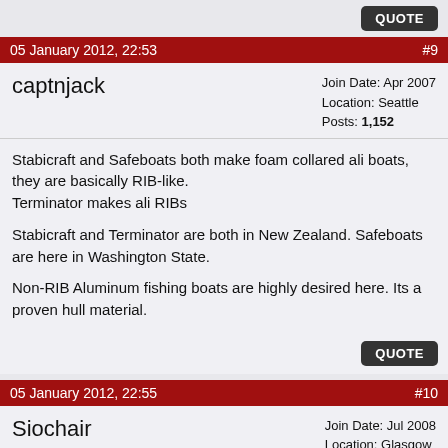QUOTE
05 January 2012, 22:53  #9
captnjack
Join Date: Apr 2007
Location: Seattle
Posts: 1,152
Stabicraft and Safeboats both make foam collared ali boats, they are basically RIB-like.
Terminator makes ali RIBs

Stabicraft and Terminator are both in New Zealand. Safeboats are here in Washington State.

Non-RIB Aluminum fishing boats are highly desired here. Its a proven hull material.
QUOTE
05 January 2012, 22:55  #10
Siochair
Join Date: Jul 2008
Location: Glasgow